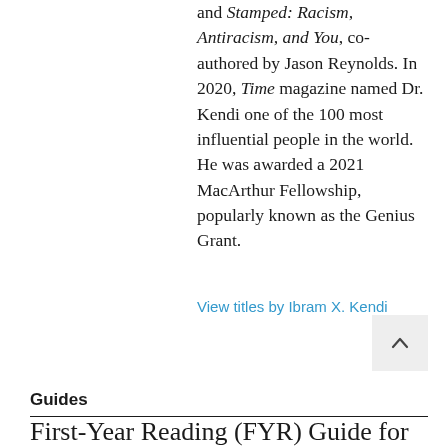and Stamped: Racism, Antiracism, and You, co-authored by Jason Reynolds. In 2020, Time magazine named Dr. Kendi one of the 100 most influential people in the world. He was awarded a 2021 MacArthur Fellowship, popularly known as the Genius Grant.
View titles by Ibram X. Kendi
Guides
First-Year Reading (FYR) Guide for